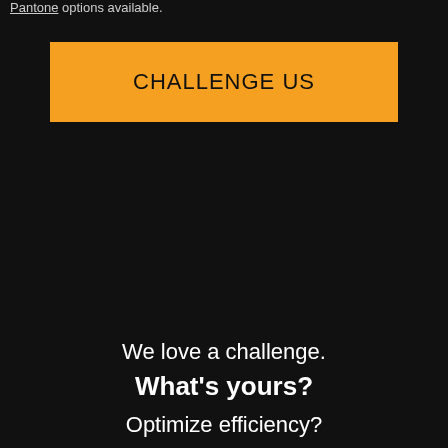Pantone options available.
CHALLENGE US
We love a challenge.
What's yours?
Optimize efficiency?